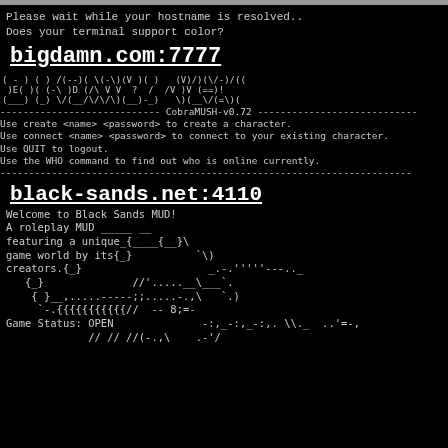[top bar / header strip]
Please wait while your hostname is resolved..
Does your terminal support color?
bigdamn.com:7777
[Figure (other): ASCII art logo for CobraMUSH game server]
---------------------------- CobraMUSH-v0.72 ----------------------------
Use create <name> <password> to create a character.
Use connect <name> <password> to connect to your existing character.
Use QUIT to logout.
Use the WHO command to find out who is online currently.
------------------------------------------------------------------------
black-sands.net:4110
Welcome to Black Sands MUD!
A roleplay MUD _____ __
featuring a unique_{____{__}\
game world by its{_}          `\)
creators.{_}                    _.-.'''''---.._
   {_}              //'.....__\___.
    { }__,.....------;:.....-.,\   `.)
     `-.{{{{{{{{{{//  -- 8;=-
Game Status: OPEN              -:,_-:,_-:,. \\._  ..''=-, ,
             // // //(-.,\    .-'/